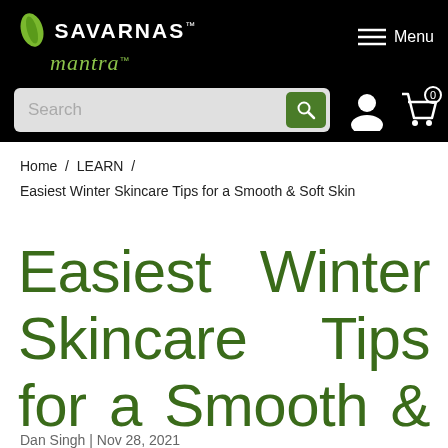Savarnas Mantra — Menu
[Figure (screenshot): Savarnas Mantra logo with green leaf icon, white uppercase SAVARNAS text and green italic Mantra script text on black background]
[Figure (screenshot): Search bar with magnifying glass icon, user account icon, and shopping cart icon with 0 badge]
Home / LEARN / Easiest Winter Skincare Tips for a Smooth & Soft Skin
Easiest Winter Skincare Tips for a Smooth & Soft Skin
Dan Singh | Nov 28, 2021